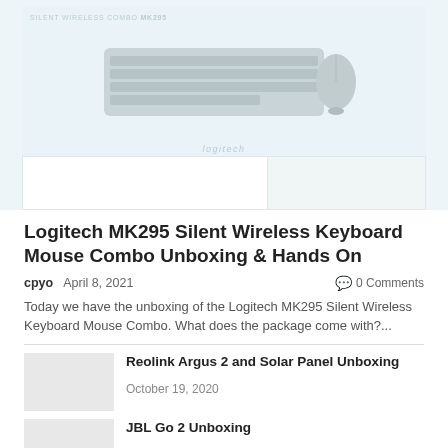[Figure (photo): Logitech MK295 Silent Wireless Keyboard and Mouse Combo product image on light blue/grey background. Keyboard and mouse visible with Logitech branding.]
Logitech MK295 Silent Wireless Keyboard Mouse Combo Unboxing & Hands On
cpyo   April 8, 2021   0 Comments
Today we have the unboxing of the Logitech MK295 Silent Wireless Keyboard Mouse Combo. What does the package come with?...
Reolink Argus 2 and Solar Panel Unboxing
October 19, 2020
JBL Go 2 Unboxing